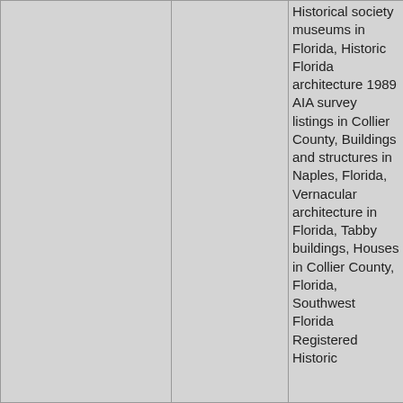|  |  | Historical society museums in Florida, Historic Florida architecture 1989 AIA survey listings in Collier County, Buildings and structures in Naples, Florida, Vernacular architecture in Florida, Tabby buildings, Houses in Collier County, Florida, Southwest Florida Registered Historic |  |  |